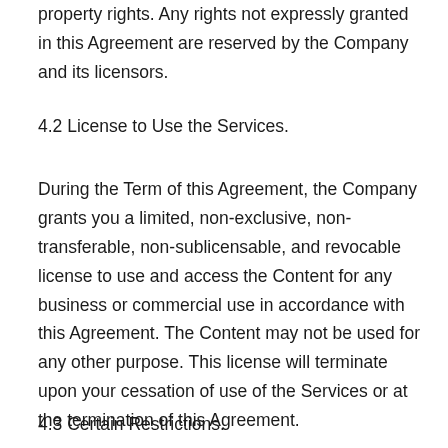property rights. Any rights not expressly granted in this Agreement are reserved by the Company and its licensors.
4.2 License to Use the Services.
During the Term of this Agreement, the Company grants you a limited, non-exclusive, non-transferable, non-sublicensable, and revocable license to use and access the Content for any business or commercial use in accordance with this Agreement. The Content may not be used for any other purpose. This license will terminate upon your cessation of use of the Services or at the termination of this Agreement.
4.3 Certain Restrictions.